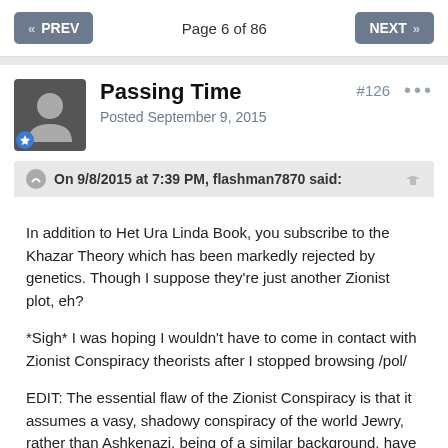PREV  Page 6 of 86  NEXT
Passing Time
Posted September 9, 2015
#126
On 9/8/2015 at 7:39 PM, flashman7870 said:
In addition to Het Ura Linda Book, you subscribe to the Khazar Theory which has been markedly rejected by genetics. Though I suppose they're just another Zionist plot, eh?

*Sigh* I was hoping I wouldn't have to come in contact with Zionist Conspiracy theorists after I stopped browsing /pol/

EDIT: The essential flaw of the Zionist Conspiracy is that it assumes a vasy, shadowy conspiracy of the world Jewry, rather than Ashkenazi, being of a similar background, have economic views that tend to overlap. And they push these ideas in the businesses they tend to control disproportionately- not for the